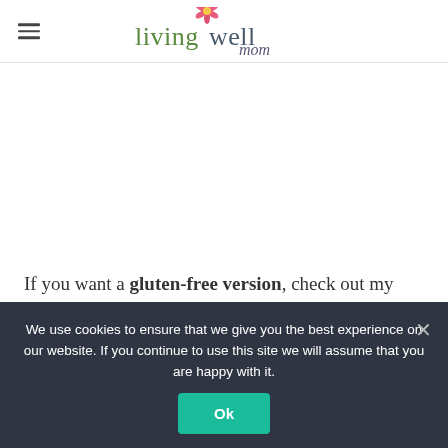living well mom
[Figure (other): Advertisement or blank content area]
If you want a gluten-free version, check out my gluten-free apple oatmeal
We use cookies to ensure that we give you the best experience on our website. If you continue to use this site we will assume that you are happy with it. Ok